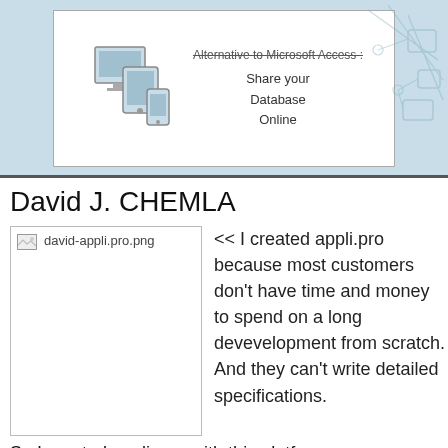[Figure (illustration): Top banner with light blue background showing a white box containing device icons (monitor, tablet, phone) on the left and text reading 'Alternative to Microsoft Access :' (struck through), 'Share your Database Online' on the right. Network/graph decorative elements visible on far right.]
David J. CHEMLA
[Figure (photo): Image placeholder showing 'david-appli.pro.png' text with broken image icon, inside a bordered box.]
<< I created appli.pro because most customers don't have time and money to spend on a long devevelopment from scratch. And they can't write detailed specifications.
So I created appli.pro, with this platform we can create application step by step, the agile way